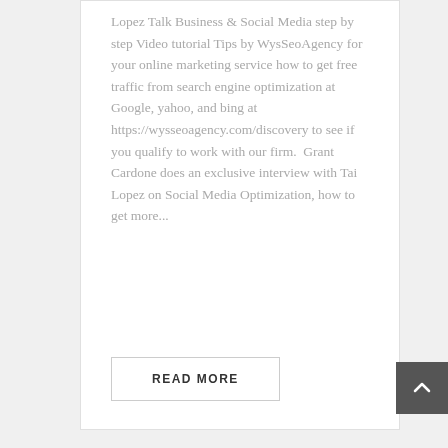Lopez Talk Business & Social Media step by step Video tutorial Tips by WysSeoAgency for your online marketing service how to get free traffic from search engine optimization at Google, yahoo, and bing at https://wysseoagency.com/discovery to see if you qualify to work with our firm.  Grant Cardone does an exclusive interview with Tai Lopez on Social Media Optimization, how to get more...
READ MORE